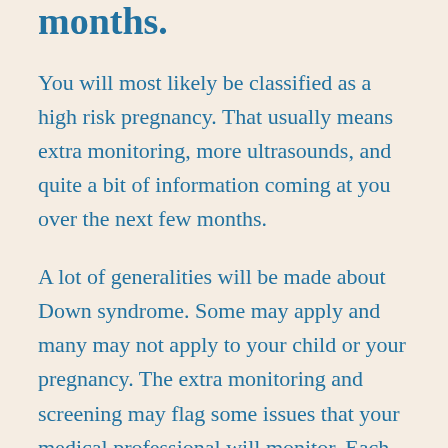months.
You will most likely be classified as a high risk pregnancy. That usually means extra monitoring, more ultrasounds, and quite a bit of information coming at you over the next few months.
A lot of generalities will be made about Down syndrome. Some may apply and many may not apply to your child or your pregnancy. The extra monitoring and screening may flag some issues that your medical professional will monitor. Each pregnancy and each baby is different. Consult with your medical professionals about your pregnancy, about issues if they